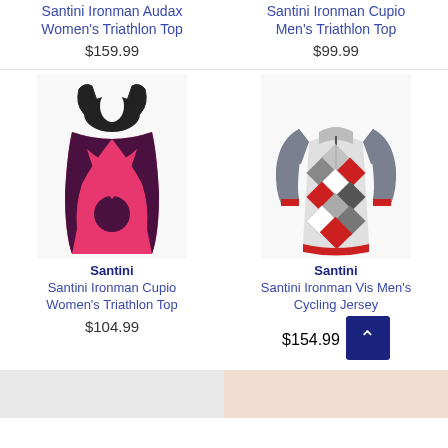Santini Ironman Audax Women's Triathlon Top
$159.99
Santini Ironman Cupio Men's Triathlon Top
$99.99
[Figure (photo): Pink and purple Santini Ironman Cupio Women's Triathlon Top]
Santini
Santini Ironman Cupio Women's Triathlon Top
$104.99
[Figure (photo): Grey, white and red Santini Ironman Vis Men's Cycling Jersey]
Santini
Santini Ironman Vis Men's Cycling Jersey
$154.99